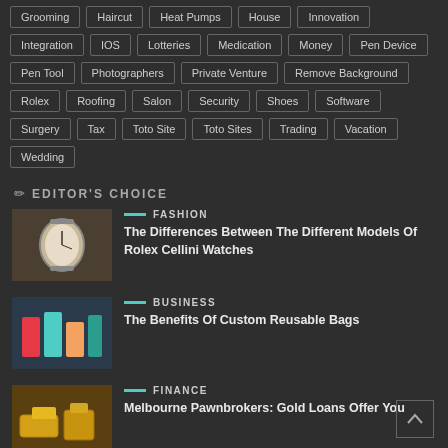Grooming
Haircut
Heat Pumps
House
Innovation
Integration
IOS
Lotteries
Medication
Money
Pen Device
Pen Tool
Photographers
Private Venture
Remove Background
Rolex
Roofing
Salon
Security
Shoes
Software
Surgery
Tax
Toto Site
Toto Sites
Trading
Vacation
Wedding
EDITOR'S CHOICE
FASHION
The Differences Between The Different Models Of Rolex Cellini Watches
BUSINESS
The Benefits Of Custom Reusable Bags
FINANCE
Melbourne Pawnbrokers: Gold Loans Offer You